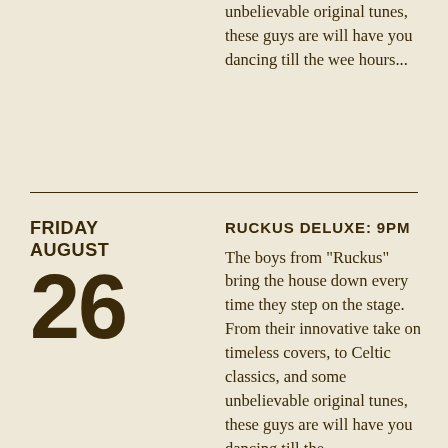unbelievable original tunes, these guys are will have you dancing till the wee hours...
FRIDAY AUGUST 26
RUCKUS DELUXE: 9PM
The boys from "Ruckus" bring the house down every time they step on the stage. From their innovative take on timeless covers, to Celtic classics, and some unbelievable original tunes, these guys are will have you dancing till the